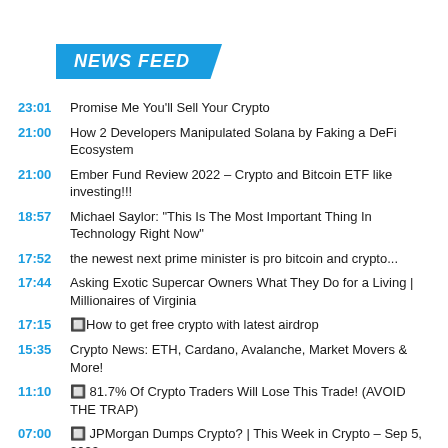NEWS FEED
23:01 Promise Me You'll Sell Your Crypto
21:00 How 2 Developers Manipulated Solana by Faking a DeFi Ecosystem
21:00 Ember Fund Review 2022 - Crypto and Bitcoin ETF like investing!!!
18:57 Michael Saylor: "This Is The Most Important Thing In Technology Right Now"
17:52 the newest next prime minister is pro bitcoin and crypto...
17:44 Asking Exotic Supercar Owners What They Do for a Living | Millionaires of Virginia
17:15 🔲How to get free crypto with latest airdrop
15:35 Crypto News: ETH, Cardano, Avalanche, Market Movers & More!
11:10 🔲 81.7% Of Crypto Traders Will Lose This Trade! (AVOID THE TRAP)
07:00 🔲 JPMorgan Dumps Crypto? | This Week in Crypto – Sep 5, 2022